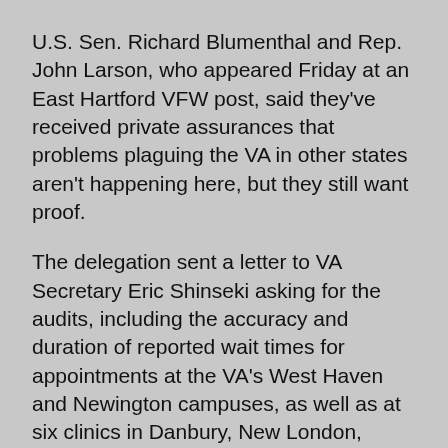U.S. Sen. Richard Blumenthal and Rep. John Larson, who appeared Friday at an East Hartford VFW post, said they've received private assurances that problems plaguing the VA in other states aren't happening here, but they still want proof.
The delegation sent a letter to VA Secretary Eric Shinseki asking for the audits, including the accuracy and duration of reported wait times for appointments at the VA's West Haven and Newington campuses, as well as at six clinics in Danbury, New London, Stamford, Waterbury, Willimantic and Winsted.
Shinseki recently announced his department would conduct ``face-to-face'' audits amid investigations of VA patients dying while awaiting treatment and falsified appointment records.